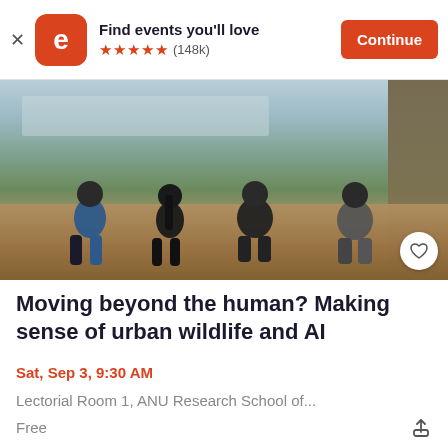Find events you'll love ★★★★★ (148k) Continue
[Figure (photo): Four people sitting on a stone wall overlooking a cityscape with trees and hills in the background]
Moving beyond the human? Making sense of urban wildlife and AI
Sat, Sep 3, 9:30 AM
Lectorial Room 1, ANU Research School of...
Free